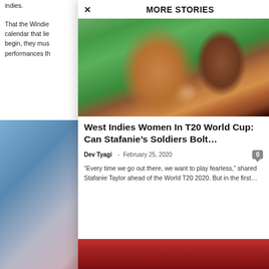indies.
That the Windie calendar that lie begin, they mus performances th
[Figure (photo): Blurred photo of a person in red cricket/sports attire on left side background]
MORE STORIES
[Figure (photo): West Indies women cricket player smiling and holding a trophy, celebrating a T20 World Cup win]
West Indies Women In T20 World Cup: Can Stafanie’s Soldiers Bolt…
Dev Tyagi - February 25, 2020
“Every time we go out there, we want to play fearless,” shared Stafanie Taylor ahead of the World T20 2020. But in the first…
[Figure (photo): Bottom strip showing red West Indies cricket jersey]